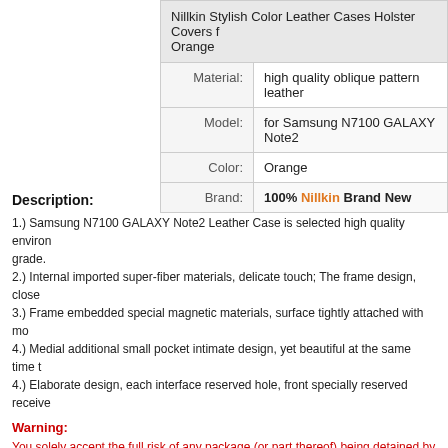|  |  |
| --- | --- |
|  | Nillkin Stylish Color Leather Cases Holster Covers for Samsung N7100 GALAXY Note2 - Orange |
| Material: | high quality oblique pattern leather |
| Model: | for Samsung N7100 GALAXY Note2 |
| Color: | Orange |
| Brand: | 100% Nillkin Brand New |
Description:
1.) Samsung N7100 GALAXY Note2 Leather Case is selected high quality environmental protection leather, meet international environmental grade.
2.) Internal imported super-fiber materials, delicate touch; The frame design, close-fitting...
3.) Frame embedded special magnetic materials, surface tightly attached with mold...
4.) Medial additional small pocket intimate design, yet beautiful at the same time...
4.) Elaborate design, each interface reserved hole, front specially reserved receive...
Warning:
You solely accept the full risk of any package (or part thereof) being detained by customs. We do not hold our store liable for such packages or loss, for whatever reason being una...
Warranty:
The items DO NOT comes with warranty. However, for customer benefits our store...
Warranty Seal shall not be broken or tampered.
All claims must be within 5 days from the date you received the package. We v...